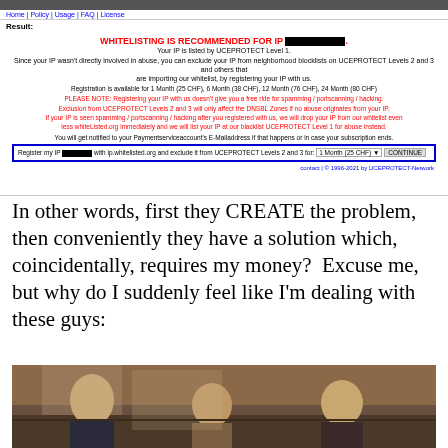[Figure (screenshot): Screenshot of UCEPROTECT IP whitelisting webpage showing a recommendation to whitelist an IP address, registration options, red warning notices, a registration form box, and copyright footer.]
In other words, first they CREATE the problem, then conveniently they have a solution which, coincidentally, requires my money?  Excuse me, but why do I suddenly feel like I'm dealing with these guys:
[Figure (photo): Photo of three men in a dimly lit room, appearing to be a scene from The Sopranos or similar mob-related TV show/film.]